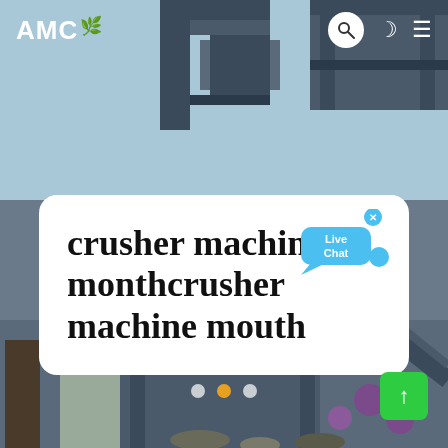[Figure (photo): Industrial crusher machine equipment photographed from below against a blue sky, with steel structural frames and conveyor components visible. Workers and machinery visible in lower portion.]
AMC
crusher machine monthcrusher machine mouth
[Figure (other): Live Chat speech bubble widget in blue]
[Figure (other): Carousel navigation dots: white, orange, white]